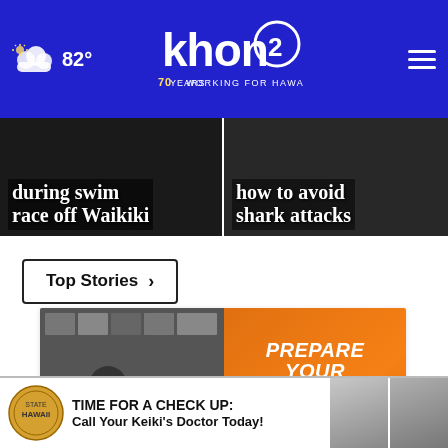khon2 WORKING FOR HAWAII — 82°
during swim race off Waikiki
how to avoid shark attacks
Top Stories ›
[Figure (photo): Advertisement: Two women in an office with framed photos on the wall, alongside an orange overlay reading PREPARE YOUR HURRICANE SUPPLIES NOW with a hurricane icon and a close button.]
[Figure (photo): Bottom banner ad: TIME FOR A CHECK UP: Call Your Keiki's Doctor Today! with a circular logo and photos of children at a doctor.]